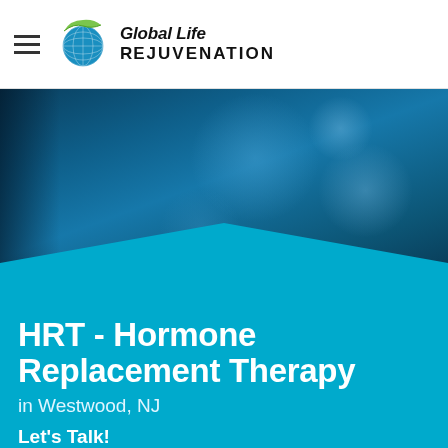[Figure (logo): Global Life Rejuvenation logo with globe icon and green swoosh]
[Figure (photo): Dark teal/blue bokeh background hero image with a pentagon/chevron shape pointing upward in lighter blue]
HRT - Hormone Replacement Therapy in Westwood, NJ
Let's Talk!